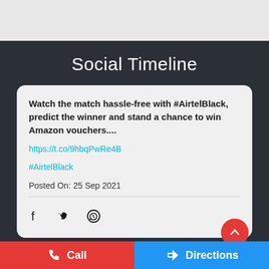Social Timeline
Watch the match hassle-free with #AirtelBlack, predict the winner and stand a chance to win Amazon vouchers....
https://t.co/9hbqPwRe4B
#AirtelBlack
Posted On: 25 Sep 2021
[Figure (infographic): Social share icons: Facebook, Twitter, WhatsApp and a red scroll-to-top button]
It's a great time to join...Social Sunday...join one of the...